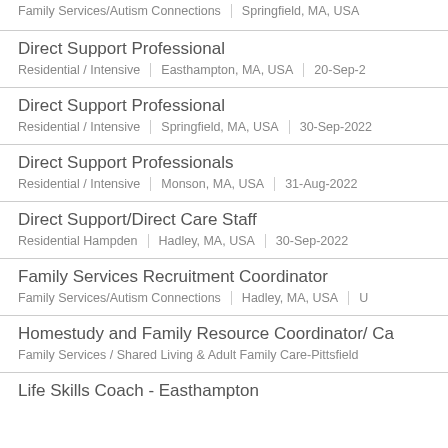Family Services/Autism Connections | Springfield, MA, USA
Direct Support Professional
Residential / Intensive | Easthampton, MA, USA | 20-Sep-2
Direct Support Professional
Residential / Intensive | Springfield, MA, USA | 30-Sep-2022
Direct Support Professionals
Residential / Intensive | Monson, MA, USA | 31-Aug-2022
Direct Support/Direct Care Staff
Residential Hampden | Hadley, MA, USA | 30-Sep-2022
Family Services Recruitment Coordinator
Family Services/Autism Connections | Hadley, MA, USA | U
Homestudy and Family Resource Coordinator/ Ca
Family Services / Shared Living & Adult Family Care-Pittsfield
Life Skills Coach - Easthampton